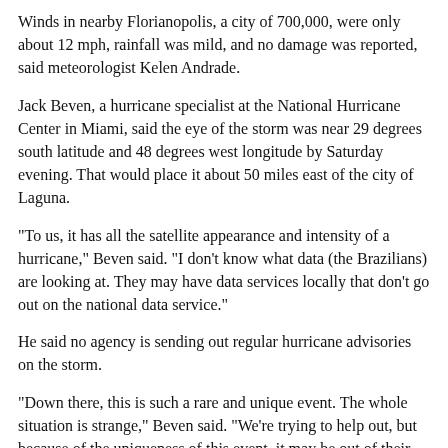Winds in nearby Florianopolis, a city of 700,000, were only about 12 mph, rainfall was mild, and no damage was reported, said meteorologist Kelen Andrade.
Jack Beven, a hurricane specialist at the National Hurricane Center in Miami, said the eye of the storm was near 29 degrees south latitude and 48 degrees west longitude by Saturday evening. That would place it about 50 miles east of the city of Laguna.
"To us, it has all the satellite appearance and intensity of a hurricane," Beven said. "I don't know what data (the Brazilians) are looking at. They may have data services locally that don't go out on the national data service."
He said no agency is sending out regular hurricane advisories on the storm.
"Down there, this is such a rare and unique event. The whole situation is strange," Beven said. "We're trying to help out, but because of the uniqueness of this event, it may be out of their expertise to some degree."
TOPICS: Foreign Affairs; News/Current Events
KEYWORDS: brazil; catarina; climatechange; coast; hurricane; powerful; storm